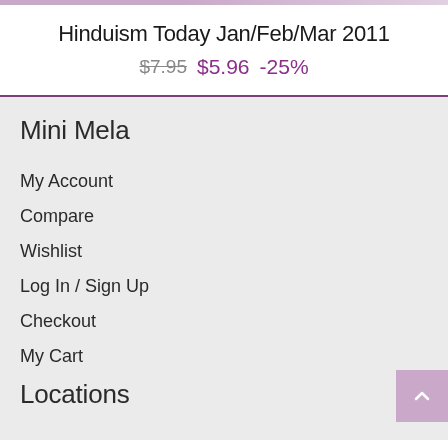Hinduism Today Jan/Feb/Mar 2011
$7.95  $5.96  -25%
Mini Mela
My Account
Compare
Wishlist
Log In / Sign Up
Checkout
My Cart
Locations